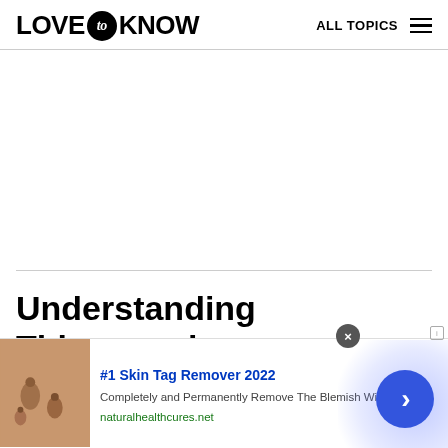LOVE to KNOW   ALL TOPICS
Understanding Thimerosal
[Figure (screenshot): Advertisement banner: #1 Skin Tag Remover 2022 - Completely and Permanently Remove The Blemish Within Hours - naturalhealthcures.net, with skin tag photo and blue arrow button]